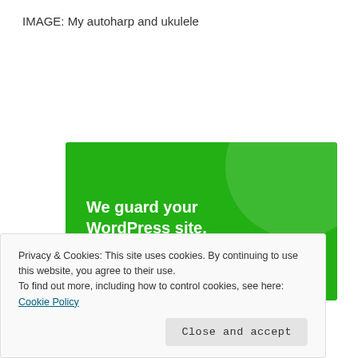IMAGE: My autoharp and ukulele
[Figure (screenshot): Green advertisement banner for a WordPress security service. Text reads 'We guard your WordPress site. You run your business.' with a 'Secure Your Site' button.]
Privacy & Cookies: This site uses cookies. By continuing to use this website, you agree to their use.
To find out more, including how to control cookies, see here: Cookie Policy
Close and accept